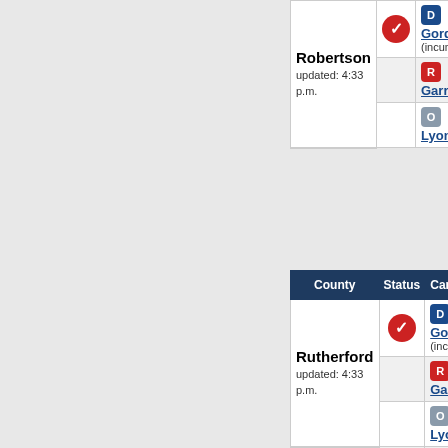| County | Status | Candidate |
| --- | --- | --- |
| Robertson
updated: 4:33 p.m. | ✓ | D Gordon (incumbent) |
|  |  | R Garrison |
|  |  | O Lyons |
| County | Status | Candidate |
| --- | --- | --- |
| Rutherford
updated: 4:33 p.m. | ✓ | D Gordon (incumbent) |
|  |  | R Garrison |
|  |  | O Lyons |
| Smith
updated: 4:33 p.m. | ✓ | D Gordon (incumbent) |
|  |  | R Garrison |
|  |  | O Lyons |
| Sumner
updated: 4:33 p.m. | ✓ | D Gordon (incumbent) |
|  |  | R Garrison |
|  |  | O Lyons |